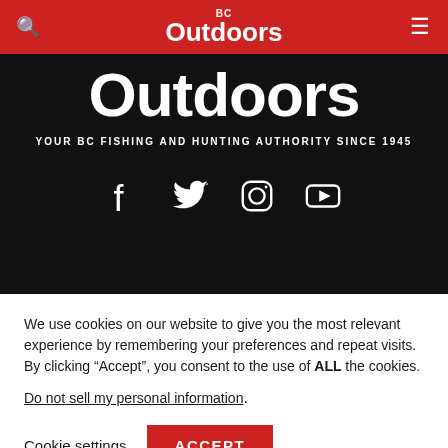BC Outdoors
[Figure (screenshot): Dark hero section with large 'Outdoors' text and tagline 'YOUR BC FISHING AND HUNTING AUTHORITY SINCE 1945' with social media icons (Facebook, Twitter, Instagram, YouTube)]
We use cookies on our website to give you the most relevant experience by remembering your preferences and repeat visits. By clicking “Accept”, you consent to the use of ALL the cookies.
Do not sell my personal information.
Cookie settings  ACCEPT